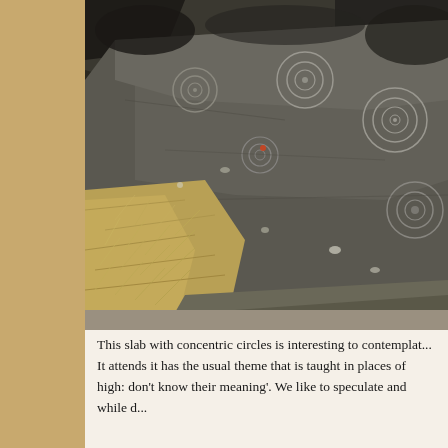[Figure (photo): A dark stone slab with concentric circle petroglyphs carved into its surface, surrounded by dry yellow-brown grass and other rocks. The rock has a dark desert varnish patina with circular spiral engravings visible across its surface.]
This slab with concentric circles is interesting to contemplate. It attends it has the usual theme that is taught in places of high: don't know their meaning'. We like to speculate and while d...